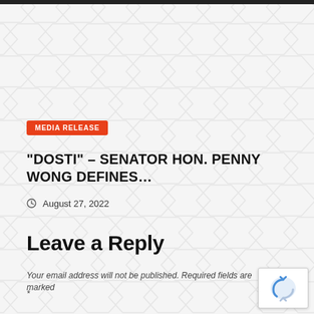[Figure (other): Hexagonal geometric background pattern in light grey]
MEDIA RELEASE
“DOSTI” – SENATOR HON. PENNY WONG DEFINES…
August 27, 2022
Leave a Reply
Your email address will not be published. Required fields are marked
*